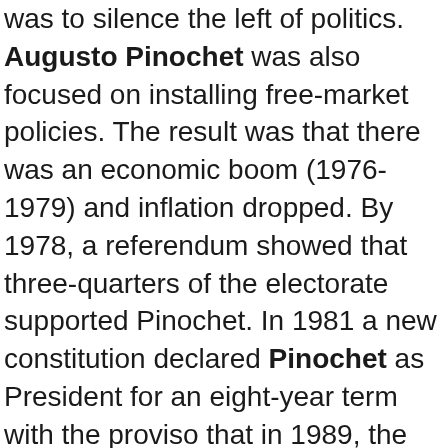was to silence the left of politics. Augusto Pinochet was also focused on installing free-market policies. The result was that there was an economic boom (1976-1979) and inflation dropped. By 1978, a referendum showed that three-quarters of the electorate supported Pinochet. In 1981 a new constitution declared Pinochet as President for an eight-year term with the proviso that in 1989, the people could decide whether or not he should be voted in for another eights years. Between 1980 and 1983, the economy went into recession, even though inflation was under control and Chile was experiencing economic growth.

A referendum was held to decide whether or not to adopt a new constitution. Included in the structure were proposals to ban all left-wing parties.